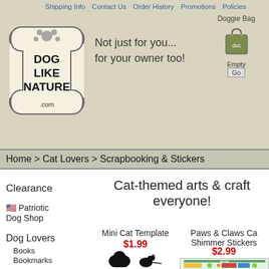Shipping Info  Contact Us  Order History  Promotions  Policies
[Figure (logo): Dog Like Nature .com logo in bone shape]
Not just for you... for your owner too!
Doggie Bag  [bag icon]  Empty  Go
Home > Cat Lovers > Scrapbooking & Stickers
Clearance
Cat-themed arts & craft everyone!
🇺🇸 Patriotic Dog Shop
Dog Lovers
Books
Bookmarks
Boxer Shorts
Car Bumperstickers
Car Euro Decals
Car Magnets
Car Signs
Cookie Cutters
Mini Cat Template
$1.99
[Figure (illustration): Black silhouette of a cat facing away from viewer with a mouse nearby and paw prints]
Paws & Claws Cat Shimmer Stickers
$2.99
[Figure (photo): Paws & Claws Cat shimmer stickers product photo showing various cat-themed stickers]